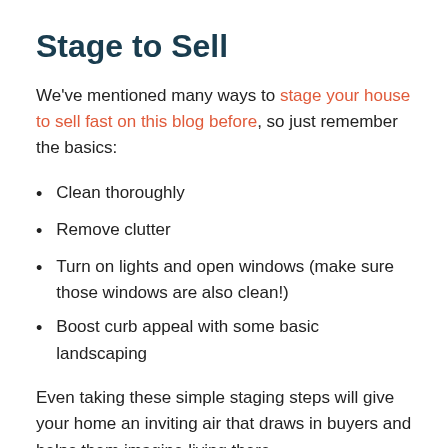Stage to Sell
We've mentioned many ways to stage your house to sell fast on this blog before, so just remember the basics:
Clean thoroughly
Remove clutter
Turn on lights and open windows (make sure those windows are also clean!)
Boost curb appeal with some basic landscaping
Even taking these simple staging steps will give your home an inviting air that draws in buyers and helps them imagine living there.
Hold an Open House